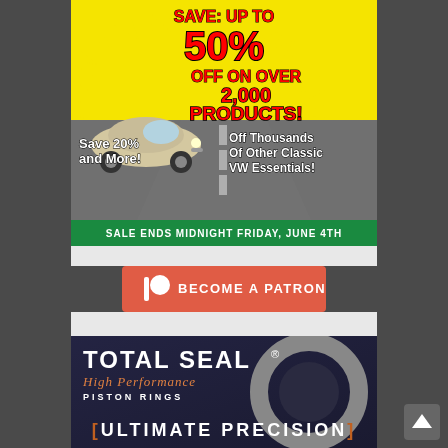[Figure (infographic): VW Classic Parts sale advertisement banner showing a VW Beetle convertible on a road with 'SAVE: UP TO 50% OFF ON OVER 2,000 PRODUCTS!' in red comic-book style text on yellow background and 'Save 20% and More! Off Thousands Of Other Classic VW Essentials!' with a green bar at bottom reading 'SALE ENDS MIDNIGHT FRIDAY, JUNE 4TH']
[Figure (infographic): Patreon 'Become a Patron' button in coral/salmon orange color with Patreon logo (vertical bar and circle) and text 'BECOME A PATRON']
[Figure (infographic): Total Seal High Performance Piston Rings advertisement showing company logo, 'High Performance PISTON RINGS' text, a piston ring image, and 'ULTIMATE PRECISION' text in brackets]